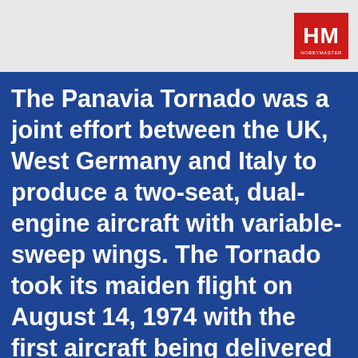[Figure (logo): HM logo in red box with white letters, positioned in top right of grey header bar]
The Panavia Tornado was a joint effort between the UK, West Germany and Italy to produce a two-seat, dual-engine aircraft with variable-sweep wings. The Tornado took its maiden flight on August 14, 1974 with the first aircraft being delivered to the German Air Force on July 27, 1979. There are three main variants of the Tornado, the IDS...